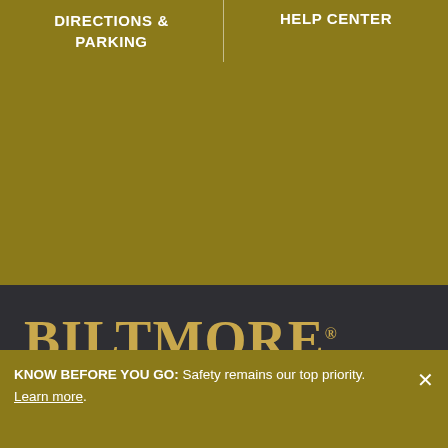DIRECTIONS & PARKING
HELP CENTER
BILTMORE®
One Lodge Street
Asheville, NC 28803
800.411.3812
KNOW BEFORE YOU GO: Safety remains our top priority. Learn more.